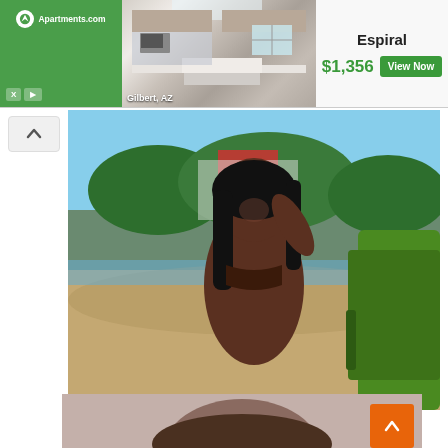[Figure (screenshot): Apartments.com advertisement banner featuring a kitchen photo from Gilbert, AZ. Shows 'Espiral' property at $1,356 with 'View Now' button.]
[Figure (photo): Young woman in dark bikini top posing at a beach with green lounge chair, smiling with hand raised to hair. Trees in background.]
She Got Famous On Social Media Due To Her Doll-like Good Look
HERBEAUTY
[Figure (photo): Partial view of a woman with dark brown hair, cropped at the top of the page bottom section.]